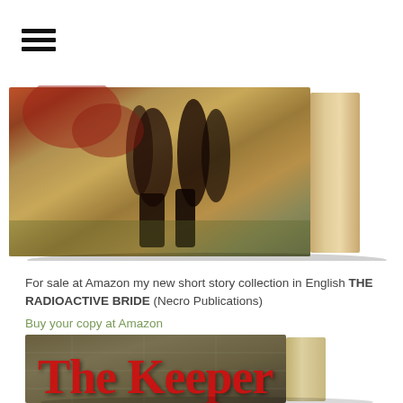[Figure (photo): Book cover of 'The Radioactive Bride' shown as a 3D book with spine visible. Cover features dark silhouetted figures against a warm brownish-red and olive background.]
For sale at Amazon my new short story collection in English THE RADIOACTIVE BRIDE (Necro Publications)
Buy your copy at Amazon
[Figure (photo): Partial book cover of 'The Keeper' shown as a 3D book with spine visible. Cover has a dark olive/brown background with large red bold title text reading 'The Keeper'.]